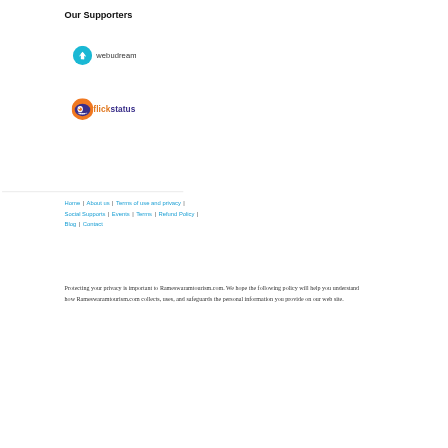Our Supporters
[Figure (logo): Webudream logo: teal circle with white bird/arrow icon, followed by text 'webudream' in dark gray]
[Figure (logo): Flickstatus logo: orange circle with eye/monster graphic, followed by text 'flickstatus' in orange and purple]
Home | About us | Terms of use and privacy | Social Supports | Events | Terms | Refund Policy | Blog | Contact
Protecting your privacy is important to Rameswaramtourism.com. We hope the following policy will help you understand how Rameswaramtourism.com collects, uses, and safeguards the personal information you provide on our web site.